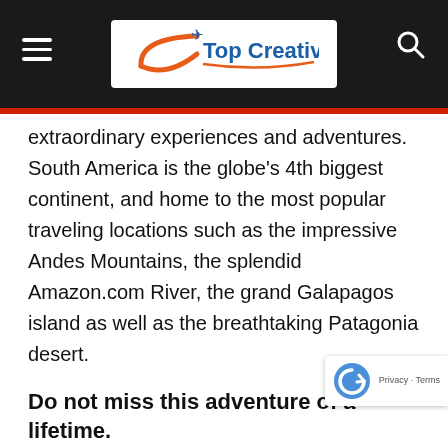Top Creativity
extraordinary experiences and adventures. South America is the globe's 4th biggest continent, and home to the most popular traveling locations such as the impressive Andes Mountains, the splendid Amazon.com River, the grand Galapagos island as well as the breathtaking Patagonia desert.
Do not miss this adventure of a lifetime.
Treat yourself to a wonderful travel experience. South America Adventure excursions have all that it considers you to appreciate an exhilarating experience in the wilds of Argentina, Brazil, Peru,